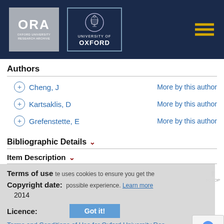[Figure (logo): ORA Oxford University Research Archive logo and University of Oxford crest on dark navy header bar]
Authors
+ Cheng, J   More by this author
+ Kartsaklis, D   More by this author
+ Grefenstette, E   More by this author
Bibliographic Details
Item Description
Terms of use
Copyright date:
2014
Licence:
Terms and Conditions of Use for Oxford University Research Archive